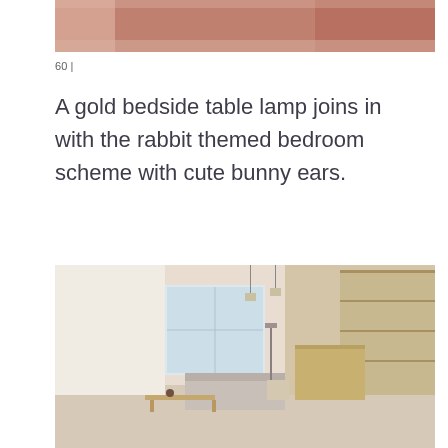[Figure (photo): Close-up photo of a pink/dusty rose upholstered headboard or furniture piece against a light background]
60 |
A gold bedside table lamp joins in with the rabbit themed bedroom scheme with cute bunny ears.
[Figure (photo): Interior photo of a minimalist living space with warm beige/cream tones, featuring a low coffee table, sofa, pendant lights, and built-in shelving unit, with large windows letting in natural light]